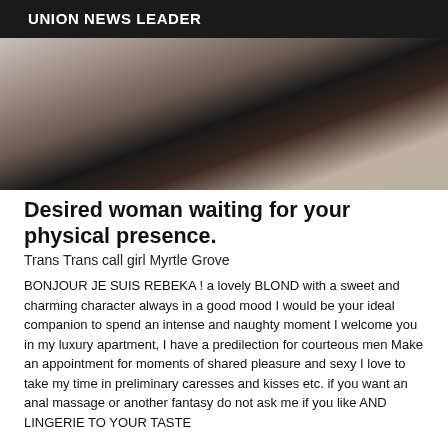UNION NEWS LEADER
[Figure (photo): Close-up photo, dark tones]
Desired woman waiting for your physical presence.
Trans Trans call girl Myrtle Grove
BONJOUR JE SUIS REBEKA ! a lovely BLOND with a sweet and charming character always in a good mood I would be your ideal companion to spend an intense and naughty moment I welcome you in my luxury apartment, I have a predilection for courteous men Make an appointment for moments of shared pleasure and sexy I love to take my time in preliminary caresses and kisses etc. if you want an anal massage or another fantasy do not ask me if you like AND LINGERIE TO YOUR TASTE